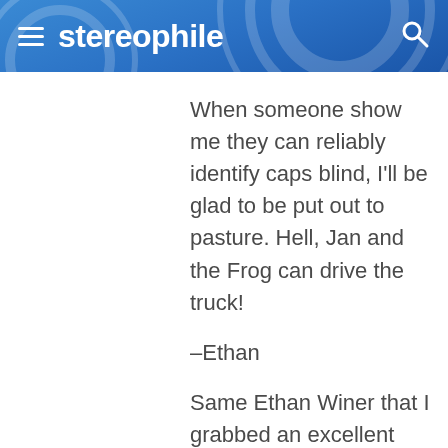stereophile
When someone show me they can reliably identify caps blind, I'll be glad to be put out to pasture. Hell, Jan and the Frog can drive the truck!
–Ethan
Same Ethan Winer that I grabbed an excellent SF2 from a few years back for my Reality